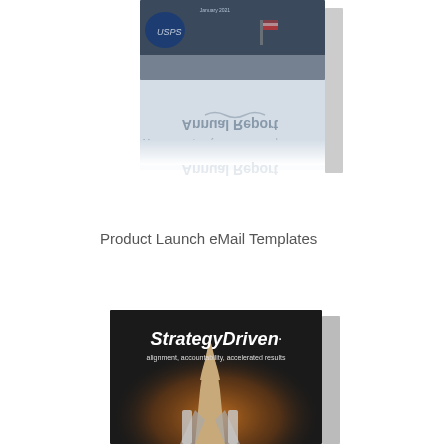[Figure (photo): A 3D book cover shown at an angle with a reflection beneath it. The cover appears to show a postal or government-related image with a flag and text including 'January 2021'. The book is displayed in a perspective/3D box style with a shadow effect on the right side. The text on the cover appears mirrored/reflected in the lower portion.]
Product Launch eMail Templates
[Figure (photo): A 3D book cover shown at an angle. The cover is dark/black with a space shuttle launch image. The cover displays 'StrategyDriven.' in bold italic white text, and below it 'alignment, accountability, accelerated results' in smaller white text. The book is partially cut off at the bottom of the page.]